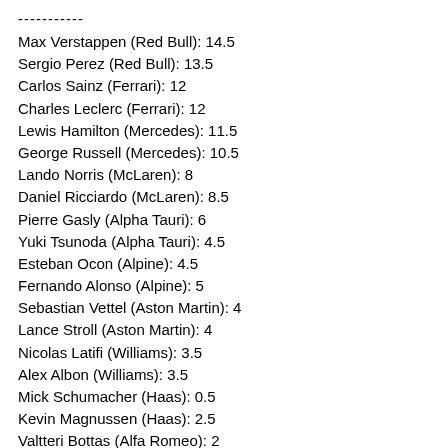-----------
Max Verstappen (Red Bull): 14.5
Sergio Perez (Red Bull): 13.5
Carlos Sainz (Ferrari): 12
Charles Leclerc (Ferrari): 12
Lewis Hamilton (Mercedes): 11.5
George Russell (Mercedes): 10.5
Lando Norris (McLaren): 8
Daniel Ricciardo (McLaren): 8.5
Pierre Gasly (Alpha Tauri): 6
Yuki Tsunoda (Alpha Tauri): 4.5
Esteban Ocon (Alpine): 4.5
Fernando Alonso (Alpine): 5
Sebastian Vettel (Aston Martin): 4
Lance Stroll (Aston Martin): 4
Nicolas Latifi (Williams): 3.5
Alex Albon (Williams): 3.5
Mick Schumacher (Haas): 0.5
Kevin Magnussen (Haas): 2.5
Valtteri Bottas (Alfa Romeo): 2
Guanyu Zhou (Alfa Romeo): 0.5
The schedule (assuming races are not canceled or delayed or